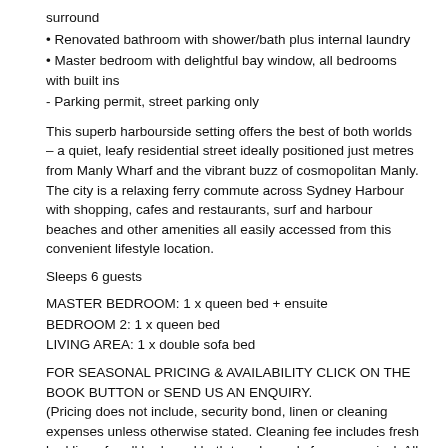surround
• Renovated bathroom with shower/bath plus internal laundry
• Master bedroom with delightful bay window, all bedrooms with built ins
- Parking permit, street parking only
This superb harbourside setting offers the best of both worlds – a quiet, leafy residential street ideally positioned just metres from Manly Wharf and the vibrant buzz of cosmopolitan Manly. The city is a relaxing ferry commute across Sydney Harbour with shopping, cafes and restaurants, surf and harbour beaches and other amenities all easily accessed from this convenient lifestyle location.
Sleeps 6 guests
MASTER BEDROOM: 1 x queen bed + ensuite
BEDROOM 2: 1 x queen bed
LIVING AREA: 1 x double sofa bed
FOR SEASONAL PRICING & AVAILABILITY CLICK ON THE BOOK BUTTON or SEND US AN ENQUIRY.
(Pricing does not include, security bond, linen or cleaning expenses unless otherwise stated. Cleaning fee includes fresh bed linen for all beds and bath towels ready for your arrival. All beds will be made up prior to your arrival.)